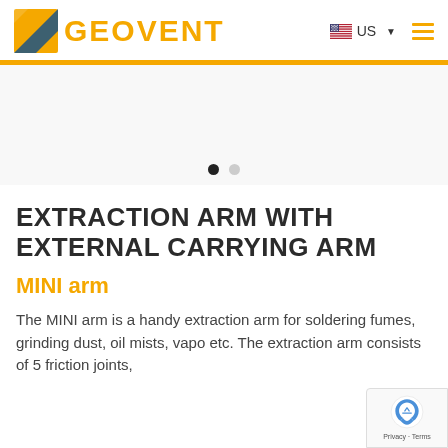GEOVENT US
[Figure (other): Geovent logo with orange and dark grey parallelogram icon and GEOVENT text in orange, plus US flag and navigation icons]
[Figure (other): Image slider area with two navigation dots (one active black, one inactive grey)]
EXTRACTION ARM WITH EXTERNAL CARRYING ARM
MINI arm
The MINI arm is a handy extraction arm for soldering fumes, grinding dust, oil mists, vapo etc. The extraction arm consists of 5 friction joints,